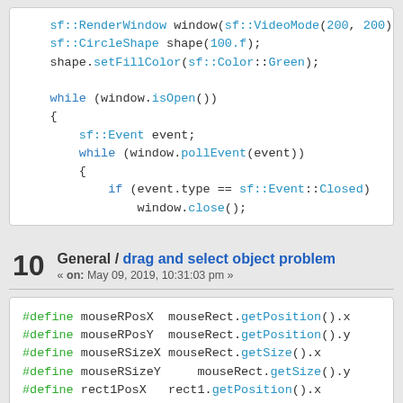[Figure (screenshot): Code block showing C++ SFML code with sf::RenderWindow, sf::CircleShape, setFillColor, while loop with window.isOpen(), sf::Event, pollEvent, and window.close()]
10   General / drag and select object problem
« on: May 09, 2019, 10:31:03 pm »
[Figure (screenshot): Code block showing C preprocessor #define macros: mouseRPosX, mouseRPosY, mouseRSizeX, mouseRSizeY, rect1PosX, rect1PosY, and a partial line]